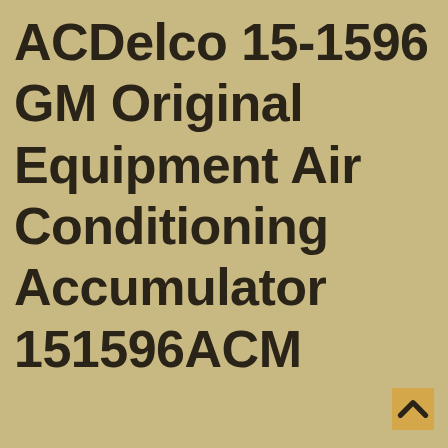ACDelco 15-1596 GM Original Equipment Air Conditioning Accumulator 151596ACM